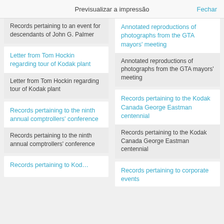Previsualizar a impressão
Records pertaining to an event for descendants of John G. Palmer
Letter from Tom Hockin regarding tour of Kodak plant
Letter from Tom Hockin regarding tour of Kodak plant
Records pertaining to the ninth annual comptrollers' conference
Records pertaining to the ninth annual comptrollers' conference
Annotated reproductions of photographs from the GTA mayors' meeting
Annotated reproductions of photographs from the GTA mayors' meeting
Records pertaining to the Kodak Canada George Eastman centennial
Records pertaining to the Kodak Canada George Eastman centennial
Records pertaining to corporate events